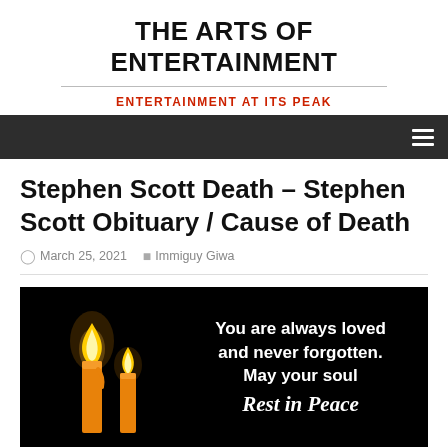THE ARTS OF ENTERTAINMENT
ENTERTAINMENT AT ITS PEAK
Stephen Scott Death – Stephen Scott Obituary / Cause of Death
March 25, 2021   Immiguy Giwa
[Figure (photo): Dark background image with two candles on the left and white bold text on the right reading: You are always loved and never forgotten. May your soul Rest in Peace (partially visible in italic script at bottom)]